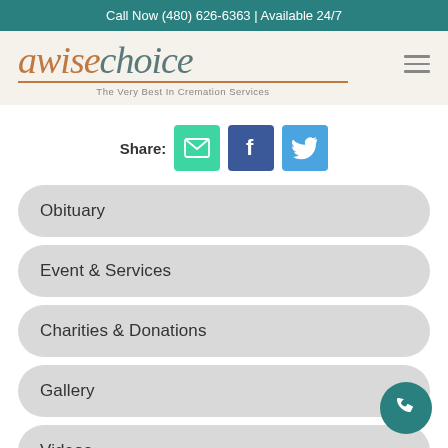Call Now (480) 626-6363 | Available 24/7
[Figure (logo): A Wise Choice logo with tagline 'The Very Best In Cremation Services']
[Figure (infographic): Share buttons: Email (green), Facebook (blue), Twitter (light blue)]
Obituary
Event & Services
Charities & Donations
Gallery
Videos